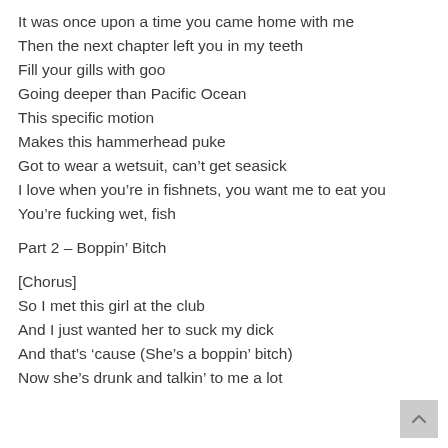It was once upon a time you came home with me
Then the next chapter left you in my teeth
Fill your gills with goo
Going deeper than Pacific Ocean
This specific motion
Makes this hammerhead puke
Got to wear a wetsuit, can’t get seasick
I love when you’re in fishnets, you want me to eat you
You’re fucking wet, fish
Part 2 – Boppin’ Bitch
[Chorus]
So I met this girl at the club
And I just wanted her to suck my dick
And that’s ‘cause (She’s a boppin’ bitch)
Now she’s drunk and talkin’ to me a lot